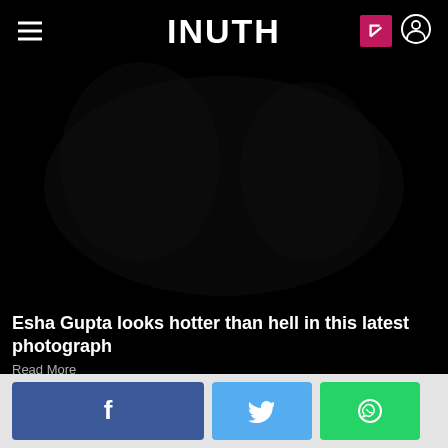INUTH
[Figure (photo): Dark/silhouette photograph, nearly black, showing a faint figure against a very dark background]
Esha Gupta looks hotter than hell in this latest photograph
Read More
39 / 56
[Figure (infographic): Social share buttons: Facebook, Twitter, WhatsApp]